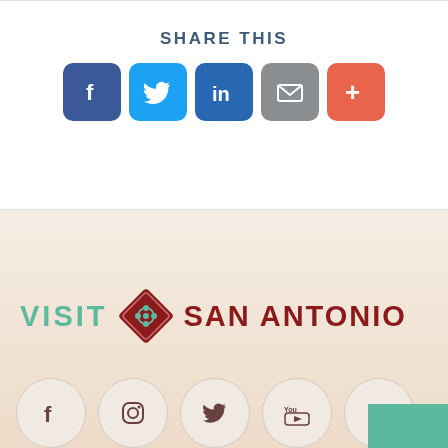SHARE THIS
[Figure (infographic): Social share buttons: Facebook (blue), Twitter (light blue), LinkedIn (dark blue), Email (gray), More (orange-red)]
[Figure (logo): Visit San Antonio logo with teal VISIT text, red diamond emblem, and red SAN ANTONIO text]
[Figure (infographic): Social media icon circles at bottom: Facebook, Instagram, Twitter, YouTube, LinkedIn]